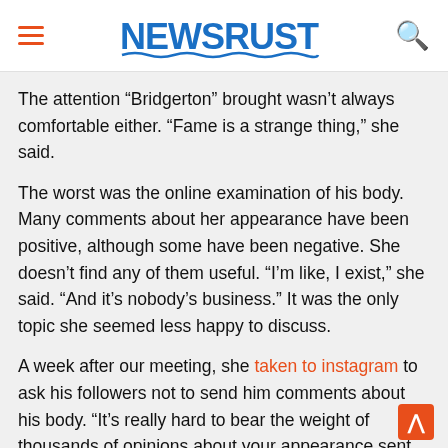NEWSRUST
The attention “Bridgerton” brought wasn’t always comfortable either. “Fame is a strange thing,” she said.
The worst was the online examination of his body. Many comments about her appearance have been positive, although some have been negative. She doesn’t find any of them useful. “I’m like, I exist,” she said. “And it’s nobody’s business.” It was the only topic she seemed less happy to discuss.
A week after our meeting, she taken to instagram to ask his followers not to send him comments about his body. “It’s really hard to bear the weight of thousands of opinions about your appearance sent directly to you every day,” she wrote.